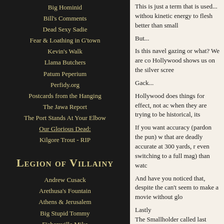Big Hominid
Bill's Comments
Dead Sexy Sadie
Fear & Loathing in G'town
Kevin's Walk
Llama Butchers
Patum Peperium
Perfidy.org
Postcards from the Hanging
The Jawa Report
The Port Stands At Your Elbow
Our Glorious Dead:
Kilgore Trout - RIP
Legion of Villainy
Andrew Cusack
Arethusa's Fountain
Athens & Jerusalem
Big Stupid Tommy
Fishersville Mike
Gormogons
Irish Elk
Joan of Arrgh
Liminality
Lost in the Cheese Aisle
This is just a term that is used... without kinetic energy to flesh better than small
But...
Is this navel gazing or what? We are co Hollywood shows us on the silver scree
Gack...
Hollywood does things for effect, not ac when they are trying to be historical, its
If you want accuracy (pardon the pun) w that are deadly accurate at 300 yards, r even switching to a full mag) than watc
And have you noticed that, despite the can't seem to make a movie without glo
Lastly
The Smallholder called last night and w
We even talked about getting older... w friend, aren't you gonna wish me a Hap
The reality is that I have my Microsoft C was April 28th... and it reminded me sc slipped my mind when he called.
Sorry buddy... Happy Birthday!!!!!